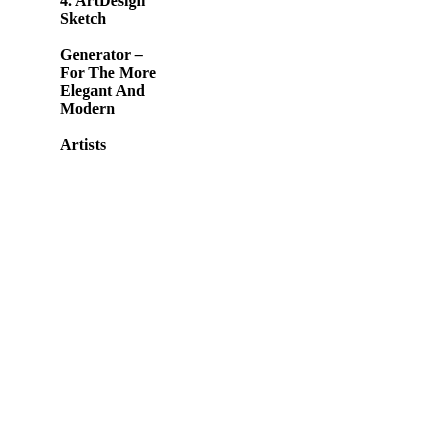4. ArtDesign Sketch Generator – For The More Elegant And Modern Artists